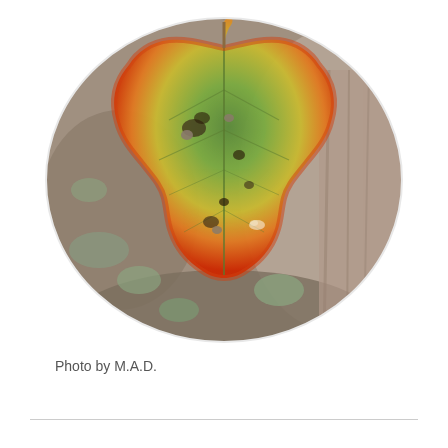[Figure (photo): An oval/ellipse-cropped photograph of an autumn leaf (likely aspen or cottonwood) resting on a rocky surface covered with lichen. The leaf shows fall coloration: green center fading to yellow-orange with bright red-orange edges and margins. Several dark spots and small holes are visible on the leaf surface. The background shows bark and lichen-covered rocks.]
Photo by M.A.D.